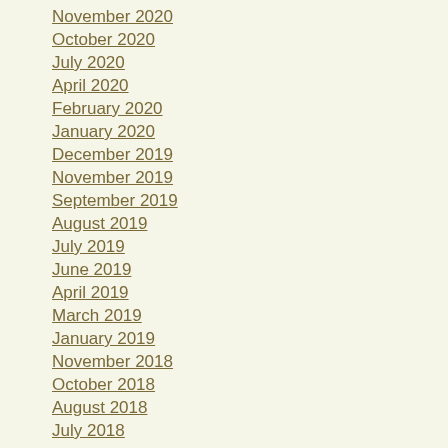November 2020
October 2020
July 2020
April 2020
February 2020
January 2020
December 2019
November 2019
September 2019
August 2019
July 2019
June 2019
April 2019
March 2019
January 2019
November 2018
October 2018
August 2018
July 2018